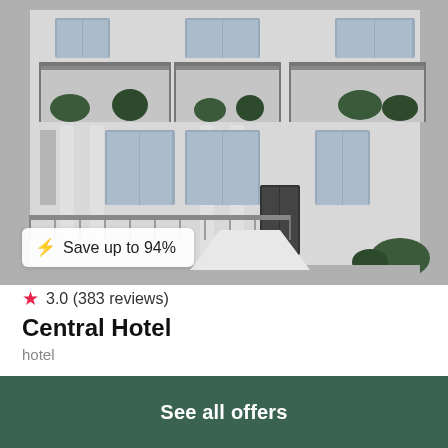[Figure (photo): Exterior facade of a white Georgian-style hotel building with balconies, iron railings, tall windows, and classical columns. A badge overlay reads 'Save up to 94%'.]
3.0 (383 reviews)
Central Hotel
hotel
£9 /night
View deal
See all offers